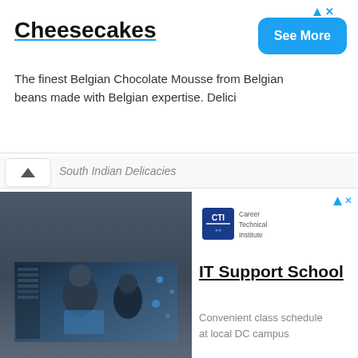Cheesecakes
The finest Belgian Chocolate Mousse from Belgian beans made with Belgian expertise. Delici
South Indian Delicacies
[Figure (photo): IT professionals working in a data center with laptops and digital overlays]
[Figure (logo): CTI Career Technical Institute logo]
IT Support School
Convenient class schedule at local DC campus